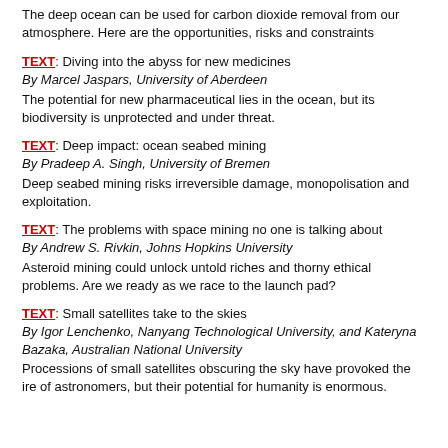The deep ocean can be used for carbon dioxide removal from our atmosphere. Here are the opportunities, risks and constraints
TEXT: Diving into the abyss for new medicines
By Marcel Jaspars, University of Aberdeen
The potential for new pharmaceutical lies in the ocean, but its biodiversity is unprotected and under threat.
TEXT: Deep impact: ocean seabed mining
By Pradeep A. Singh, University of Bremen
Deep seabed mining risks irreversible damage, monopolisation and exploitation.
TEXT: The problems with space mining no one is talking about
By Andrew S. Rivkin, Johns Hopkins University
Asteroid mining could unlock untold riches and thorny ethical problems. Are we ready as we race to the launch pad?
TEXT: Small satellites take to the skies
By Igor Lenchenko, Nanyang Technological University, and Kateryna Bazaka, Australian National University
Processions of small satellites obscuring the sky have provoked the ire of astronomers, but their potential for humanity is enormous.